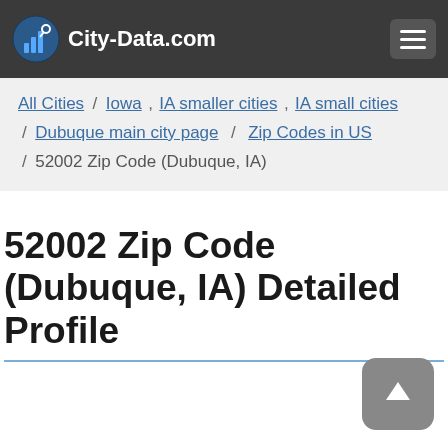City-Data.com
All Cities / Iowa , IA smaller cities , IA small cities / Dubuque main city page / Zip Codes in US / 52002 Zip Code (Dubuque, IA)
52002 Zip Code (Dubuque, IA) Detailed Profile